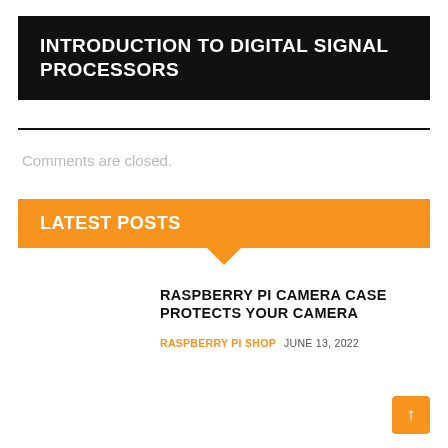INTRODUCTION TO DIGITAL SIGNAL PROCESSORS
Comments are closed.
LATEST POSTS
RASPBERRY PI CAMERA CASE PROTECTS YOUR CAMERA
RASPBERRY PI SHOP   JUNE 13, 2022